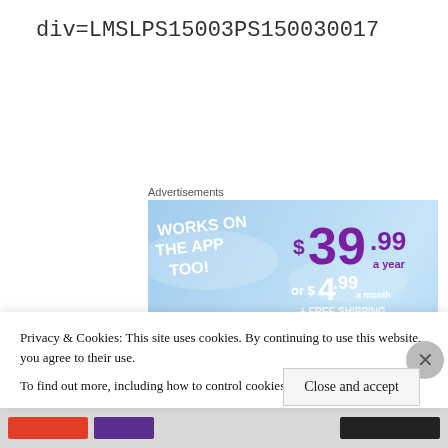div=LMSLPS15003PS150030017
Advertisements
[Figure (screenshot): Tumblr Ad-Free subscription advertisement banner. Shows 'WORKS ON THE APP TOO!' text, Tumblr 't' logo with sparkles, pricing of $39.99 a year or $4.99 a month + FREE SHIPPING, and 'TUMBLR AD-FREE' text at bottom. Sky blue background.]
Privacy & Cookies: This site uses cookies. By continuing to use this website, you agree to their use.
To find out more, including how to control cookies, see here: Cookie Policy
Close and accept